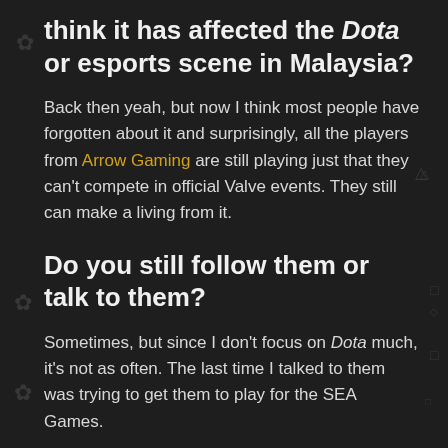think it has affected the Dota or esports scene in Malaysia?
Back then yeah, but now I think most people have forgotten about it and surprisingly, all the players from Arrow Gaming are still playing just that they can't compete in official Valve events. They still can make a living from it.
Do you still follow them or talk to them?
Sometimes, but since I don't focus on Dota much, it's not as often. The last time I talked to them was trying to get them to play for the SEA Games.
Do you think it was fair for the